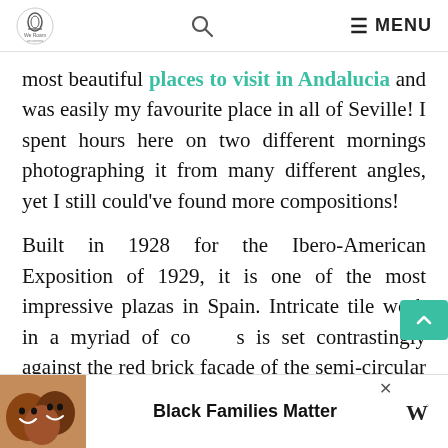We Roam — logo, search icon, MENU
most beautiful places to visit in Andalucia and was easily my favourite place in all of Seville! I spent hours here on two different mornings photographing it from many different angles, yet I still could've found more compositions!
Built in 1928 for the Ibero-American Exposition of 1929, it is one of the most impressive plazas in Spain. Intricate tile work in a myriad of colours is set contrastingly against the red brick facade of the semi-circular plaza. The canal that runs the perimeter of the plaza has even afforded
[Figure (screenshot): Scroll-to-top button (teal background with upward caret arrow)]
[Figure (photo): Advertisement banner showing smiling people with text 'Black Families Matter' and a W logo]
Black Families Matter